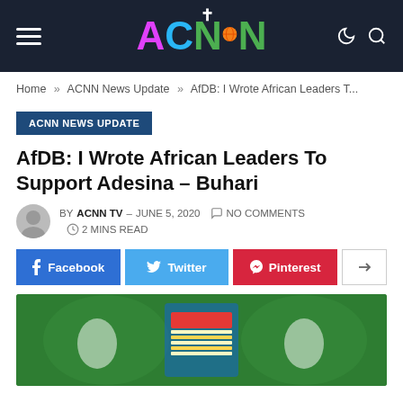ACNN TV
Home » ACNN News Update » AfDB: I Wrote African Leaders T...
ACNN NEWS UPDATE
AfDB: I Wrote African Leaders To Support Adesina – Buhari
BY ACNN TV – JUNE 5, 2020   NO COMMENTS   2 MINS READ
[Figure (other): Social share buttons: Facebook, Twitter, Pinterest, and share icon]
[Figure (photo): Photo of a person wearing traditional Nigerian attire with a green coat-of-arms background]